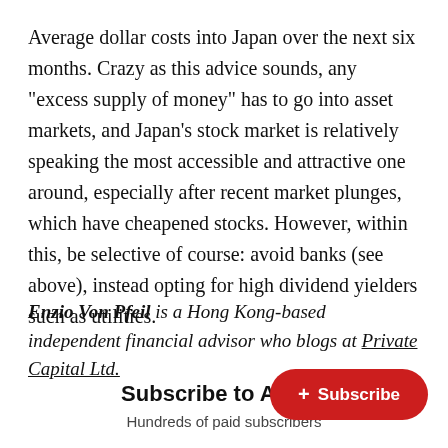Average dollar costs into Japan over the next six months. Crazy as this advice sounds, any "excess supply of money" has to go into asset markets, and Japan's stock market is relatively speaking the most accessible and attractive one around, especially after recent market plunges, which have cheapened stocks. However, within this, be selective of course: avoid banks (see above), instead opting for high dividend yielders such as utilities.
Enzio Von Pfeil is a Hong Kong-based independent financial advisor who blogs at Private Capital Ltd.
Subscribe to Asia S
Hundreds of paid subscribers